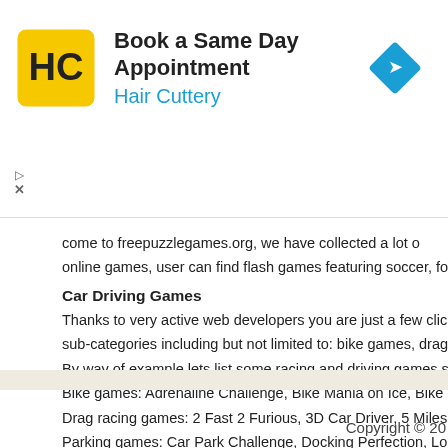[Figure (logo): Hair Cuttery advertisement banner with HC logo, 'Book a Same Day Appointment' text, 'Hair Cuttery' subtitle in blue, and a blue navigation/direction diamond icon]
come to freepuzzlegames.org, we have collected a lot of online games, user can find flash games featuring soccer, fo
Car Driving Games
Thanks to very active web developers you are just a few clicks away from sub-categories including but not limited to: bike games, drag racing games...
By way of example lets list some racing and driving games s
Bike games: Adrenaline Challenge, Bike Mania on Ice, Bike
Drag racing games: 2 Fast 2 Furious, 3D Car Driver, 5 Miles
Parking games: Car Park Challenge, Docking Perfection, Lo
Racing games: 4X4 Rally, Autobahn, Camera Killer, Deadly
Copyright © 20